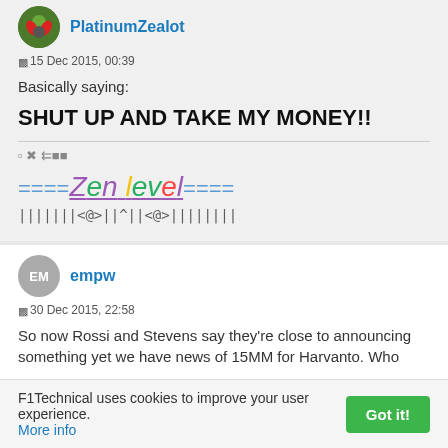PlatinumZealot
15 Dec 2015, 00:39
Basically saying:
SHUT UP AND TAKE MY MONEY!!
[Figure (other): Forum user signature with Zen level graphic and colored text]
empw
30 Dec 2015, 22:58
So now Rossi and Stevens say they're close to announcing something yet we have news of 15MM for Harvanto. Who
F1Technical uses cookies to improve your user experience. More info
Got it!